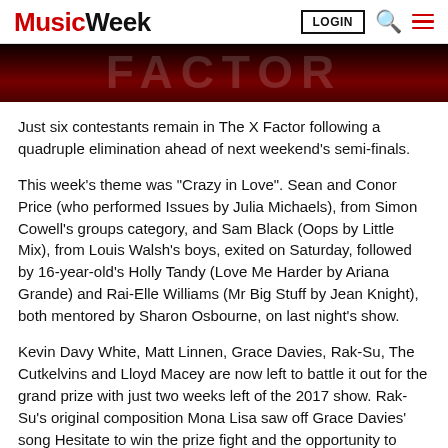Music Week | LOGIN | Search | Menu
[Figure (photo): Dark red/black hero banner with light text overlay, partially visible text in large letters]
Just six contestants remain in The X Factor following a quadruple elimination ahead of next weekend's semi-finals.
This week's theme was "Crazy in Love". Sean and Conor Price (who performed Issues by Julia Michaels), from Simon Cowell's groups category, and Sam Black (Oops by Little Mix), from Louis Walsh's boys, exited on Saturday, followed by 16-year-old's Holly Tandy (Love Me Harder by Ariana Grande) and Rai-Elle Williams (Mr Big Stuff by Jean Knight), both mentored by Sharon Osbourne, on last night's show.
Kevin Davy White, Matt Linnen, Grace Davies, Rak-Su, The Cutkelvins and Lloyd Macey are now left to battle it out for the grand prize with just two weeks left of the 2017 show. Rak-Su's original composition Mona Lisa saw off Grace Davies' song Hesitate to win the prize fight and the opportunity to record in LA with acclaimed producer Ali Tamposi.